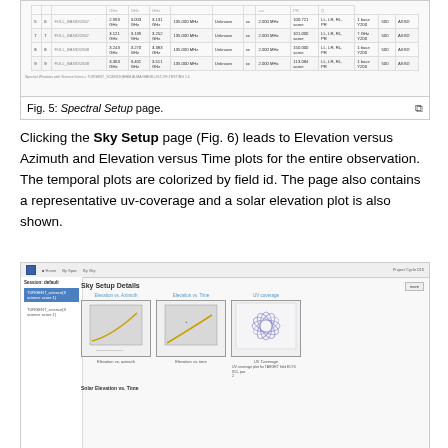[Figure (screenshot): Screenshot of Spectral Setup page showing a table with rows of spectral window data including frequency, bandwidth, and other parameters]
Fig. 5: Spectral Setup page.
Clicking the Sky Setup page (Fig. 6) leads to Elevation versus Azimuth and Elevation versus Time plots for the entire observation. The temporal plots are colorized by field id. The page also contains a representative uv-coverage and a solar elevation plot is also shown.
[Figure (screenshot): Screenshot of Sky Setup Details page showing Elevation vs. Azimuth plot, Elevation vs. Time plot, UV coverage plot with flower pattern, and Solar Elevation vs. Time section at bottom]